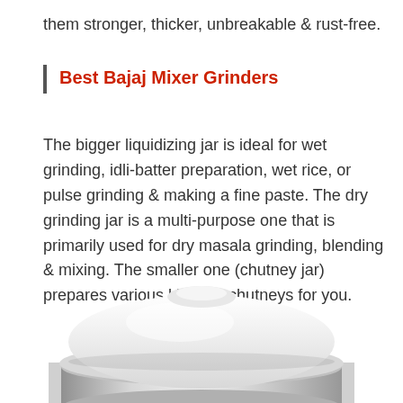them stronger, thicker, unbreakable & rust-free.
Best Bajaj Mixer Grinders
The bigger liquidizing jar is ideal for wet grinding, idli-batter preparation, wet rice, or pulse grinding & making a fine paste. The dry grinding jar is a multi-purpose one that is primarily used for dry masala grinding, blending & mixing. The smaller one (chutney jar) prepares various kinds of chutneys for you.
[Figure (photo): A stainless steel mixer grinder jar with a white lid, photographed from above at a slight angle.]